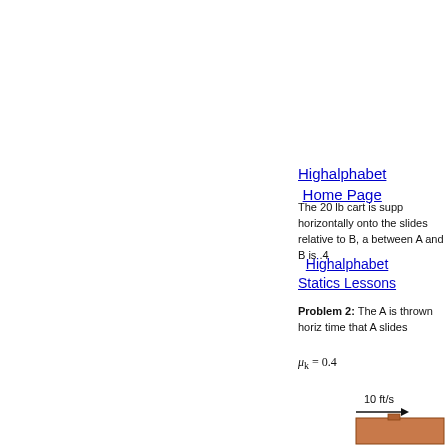Highalphabet
Home Page
The 20 lb cart is supp horizontally onto the slides relative to B, a between A and B is .4
Highalphabet
Statics Lessons
Problem 2: The A is thrown horiz time that A slides μk = 0.4
[Figure (engineering-diagram): A block on a surface with arrow labeled 10 ft/s pointing to the right]